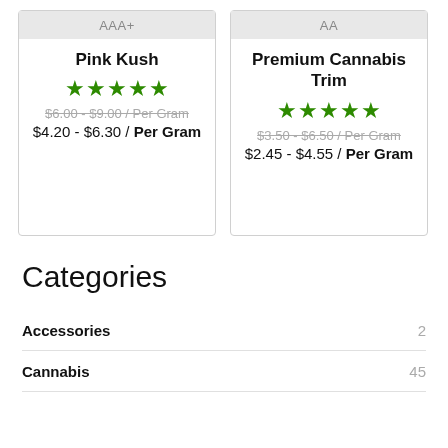[Figure (other): Product card: grade AAA+, Pink Kush, 5 stars, original price $6.00-$9.00/Per Gram, sale price $4.20-$6.30/Per Gram]
[Figure (other): Product card: grade AA, Premium Cannabis Trim, 4.5 stars, original price $3.50-$6.50/Per Gram, sale price $2.45-$4.55/Per Gram]
Categories
Accessories 2
Cannabis 45